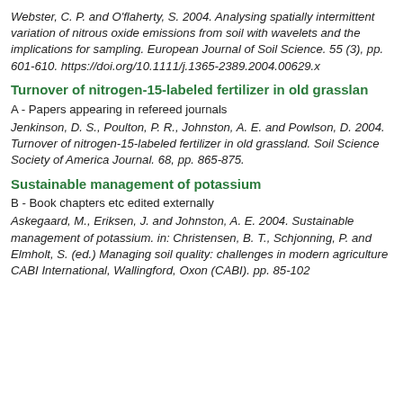Webster, C. P. and O'flaherty, S. 2004. Analysing spatially intermittent variation of nitrous oxide emissions from soil with wavelets and the implications for sampling. European Journal of Soil Science. 55 (3), pp. 601-610. https://doi.org/10.1111/j.1365-2389.2004.00629.x
Turnover of nitrogen-15-labeled fertilizer in old grasslan
A - Papers appearing in refereed journals
Jenkinson, D. S., Poulton, P. R., Johnston, A. E. and Powlson, D. 2004. Turnover of nitrogen-15-labeled fertilizer in old grassland. Soil Science Society of America Journal. 68, pp. 865-875.
Sustainable management of potassium
B - Book chapters etc edited externally
Askegaard, M., Eriksen, J. and Johnston, A. E. 2004. Sustainable management of potassium. in: Christensen, B. T., Schjonning, P. and Elmholt, S. (ed.) Managing soil quality: challenges in modern agriculture CABI International, Wallingford, Oxon (CABI). pp. 85-102